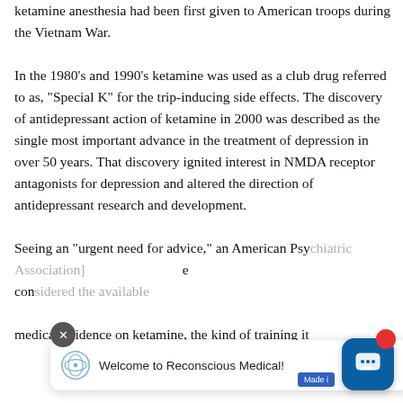ketamine anesthesia had been first given to American troops during the Vietnam War. In the 1980's and 1990's ketamine was used as a club drug referred to as, "Special K" for the trip-inducing side effects. The discovery of antidepressant action of ketamine in 2000 was described as the single most important advance in the treatment of depression in over 50 years. That discovery ignited interest in NMDA receptor antagonists for depression and altered the direction of antidepressant research and development. Seeing an "urgent need for advice," an American Psy[chiatric Association] co[mmittee reviewed the] medical evidence on ketamine, the kind of training it